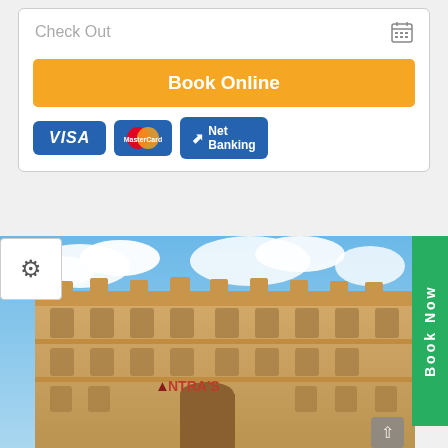Check Out
Book Online
[Figure (screenshot): Payment method badges: VISA, MasterCard, Net Banking on blue rounded rectangle buttons]
[Figure (photo): Antra's hotel building - a multi-storey sandstone Rajasthani heritage hotel with ornate carved balconies and arched windows, blue sky with clouds in background]
Book Now